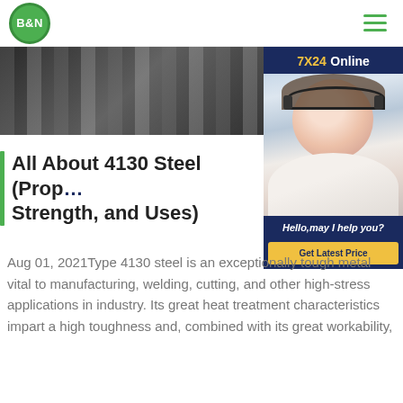B&N
[Figure (photo): Hero image of steel tubes/pipes with dark metallic appearance]
[Figure (photo): 7X24 Online chat widget with customer service representative wearing a headset, button: Get Latest Price]
All About 4130 Steel (Properties, Strength, and Uses)
Aug 01, 2021Type 4130 steel is an exceptionally tough metal vital to manufacturing, welding, cutting, and other high-stress applications in industry. Its great heat treatment characteristics impart a high toughness and, combined with its great workability,